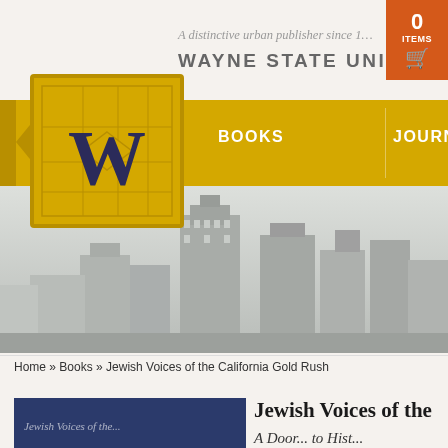A distinctive urban publisher since 1...
WAYNE STATE UNIVE...TY
[Figure (logo): Wayne State University Press logo — gold square with W letter and grid pattern]
BOOKS    JOURNALS
[Figure (photo): Black and white city skyline (Detroit) background banner image]
Home » Books » Jewish Voices of the California Gold Rush
[Figure (photo): Book cover with dark blue background]
Jewish Voices of the...